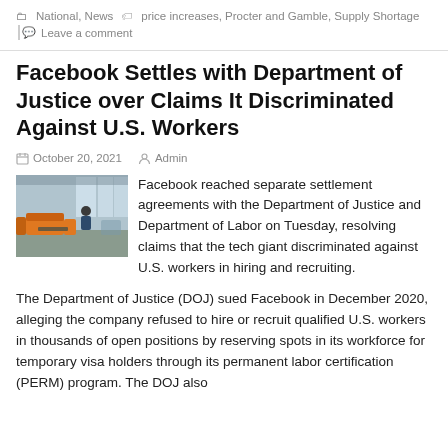National, News   price increases, Procter and Gamble, Supply Shortage
Leave a comment
Facebook Settles with Department of Justice over Claims It Discriminated Against U.S. Workers
October 20, 2021   Admin
[Figure (photo): Interior of a modern office space with orange seating and large windows]
Facebook reached separate settlement agreements with the Department of Justice and Department of Labor on Tuesday, resolving claims that the tech giant discriminated against U.S. workers in hiring and recruiting.
The Department of Justice (DOJ) sued Facebook in December 2020, alleging the company refused to hire or recruit qualified U.S. workers in thousands of open positions by reserving spots in its workforce for temporary visa holders through its permanent labor certification (PERM) program. The DOJ also